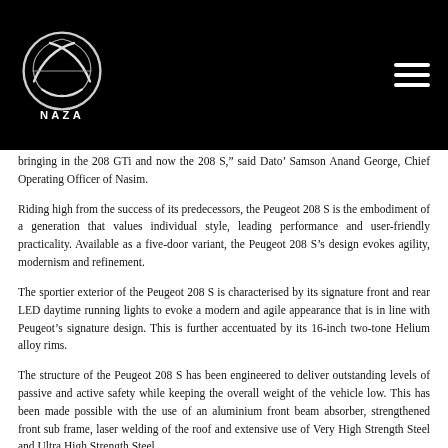NAZA logo and navigation
bringing in the 208 GTi and now the 208 S,” said Dato’ Samson Anand George, Chief Operating Officer of Nasim.
Riding high from the success of its predecessors, the Peugeot 208 S is the embodiment of a generation that values individual style, leading performance and user-friendly practicality. Available as a five-door variant, the Peugeot 208 S’s design evokes agility, modernism and refinement.
The sportier exterior of the Peugeot 208 S is characterised by its signature front and rear LED daytime running lights to evoke a modern and agile appearance that is in line with Peugeot’s signature design. This is further accentuated by its 16-inch two-tone Helium alloy rims.
The structure of the Peugeot 208 S has been engineered to deliver outstanding levels of passive and active safety while keeping the overall weight of the vehicle low. This has been made possible with the use of an aluminium front beam absorber, strengthened front sub frame, laser welding of the roof and extensive use of Very High Strength Steel and Ultra High Strength Steel.